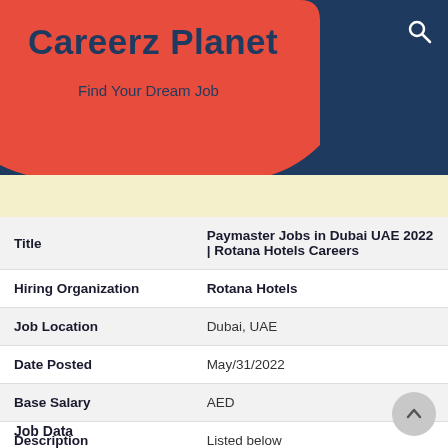Careerz Planet
Find Your Dream Job
| Field | Value |
| --- | --- |
| Title | Paymaster Jobs in Dubai UAE 2022 | Rotana Hotels Careers |
| Hiring Organization | Rotana Hotels |
| Job Location | Dubai, UAE |
| Date Posted | May/31/2022 |
| Base Salary | AED |
| Description | Listed below |
| Employment Type | Full Time |
| Valid Until | Jun/16/2022 |
Job Data